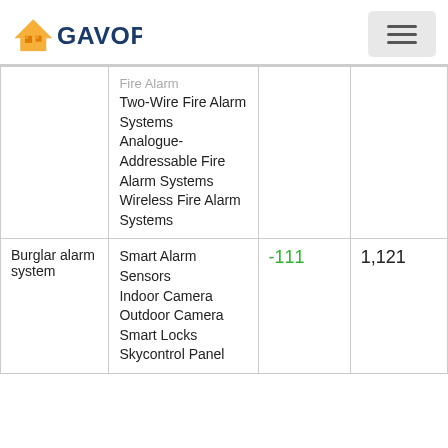GAVOP
| Category | Items |  |  |
| --- | --- | --- | --- |
|  | Fire Alarm
Two-Wire Fire Alarm Systems
Analogue-Addressable Fire Alarm Systems
Wireless Fire Alarm Systems |  |  |
| Burglar alarm system | Smart Alarm Sensors
Indoor Camera
Outdoor Camera
Smart Locks
Skycontrol Panel | -111 | 1,121 |